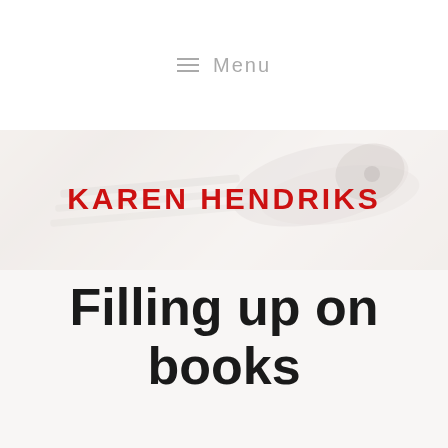≡ Menu
[Figure (photo): Faded background photo of hands writing or flipping through papers/books on a desk, with a white overlay. Overlaid with bold red uppercase text 'KAREN HENDRIKS' and large bold dark text 'Filling up on books'.]
KAREN HENDRIKS
Filling up on books